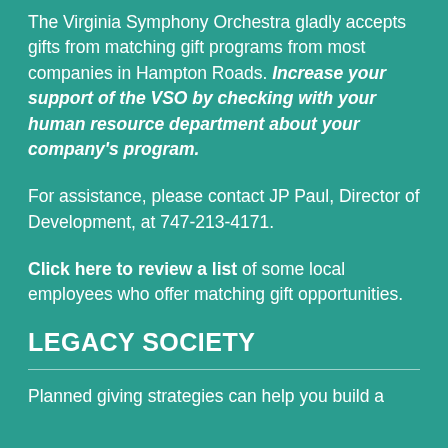The Virginia Symphony Orchestra gladly accepts gifts from matching gift programs from most companies in Hampton Roads. Increase your support of the VSO by checking with your human resource department about your company's program.
For assistance, please contact JP Paul, Director of Development, at 747-213-4171.
Click here to review a list of some local employees who offer matching gift opportunities.
LEGACY SOCIETY
Planned giving strategies can help you build a